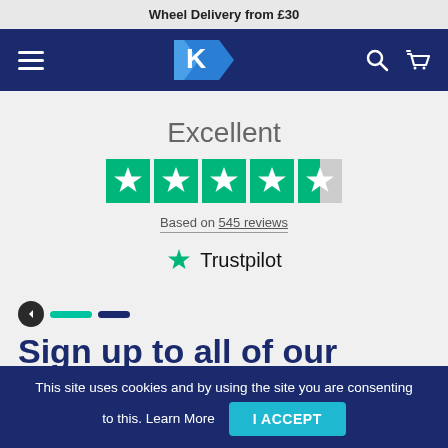Wheel Delivery from £30
[Figure (logo): Kryptone/K brand logo in white on dark navy navigation bar with hamburger menu, search icon, and basket icon]
Excellent
[Figure (other): Trustpilot 4.5 star rating display — 4 full green stars and 1 half green star on green background]
Based on 545 reviews
[Figure (logo): Trustpilot logo with green star and Trustpilot text]
Sign up to all of our latest
This site uses cookies and by using the site you are consenting to this. Learn More
I ACCEPT